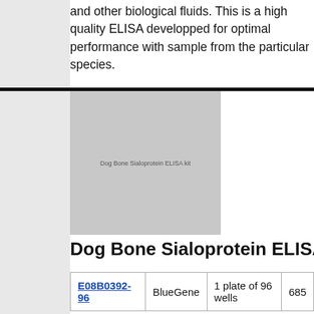and other biological fluids. This is a high quality ELISA developped for optimal performance with sample from the particular species.
[Figure (photo): Dog Bone Sialoprotein ELISA kit product box image placeholder]
Dog Bone Sialoprotein ELISA kit
| E08B0392-96 | BlueGene | 1 plate of 96 wells | 685 |
| --- | --- | --- | --- |
Description: A competitive ELISA for quantitative measurement of Canine Bone Sialoprotein in samples from blood, plasma, serum, cell culture supernatant and other biological fluids. This is a high quality ELISA developped for optimal performance with sample